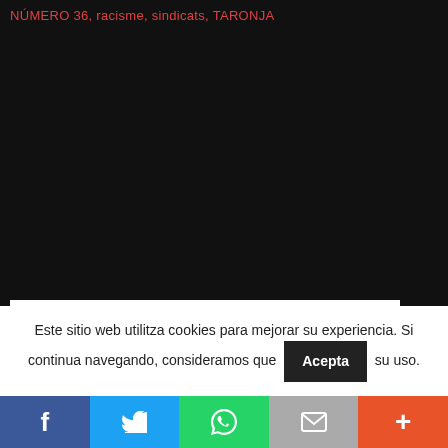NÚMERO 36, racisme, sindicats, TARONJA
2.108 Thoughts to “Declaració de la CSI: el racisme és un tema sindical.”
Este sitio web utilitza cookies para mejorar su experiencia. Si continua navegando, consideramos que su uso.